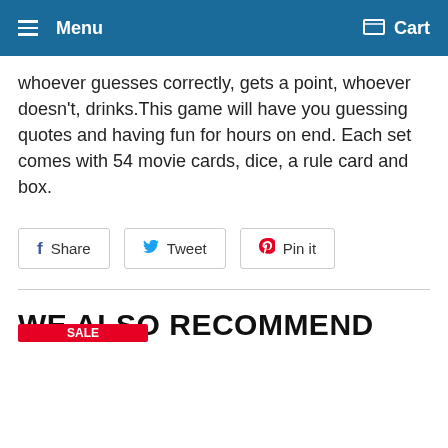Menu  Cart
whoever guesses correctly, gets a point, whoever doesn't, drinks.This game will have you guessing quotes and having fun for hours on end. Each set comes with 54 movie cards, dice, a rule card and box.
Share  Tweet  Pin it
WE ALSO RECOMMEND